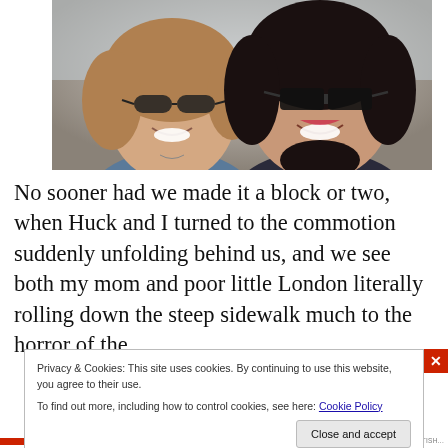[Figure (photo): Two women smiling closely together, both wearing sunglasses, taking a selfie outdoors.]
No sooner had we made it a block or two, when Huck and I turned to the commotion suddenly unfolding behind us, and we see both my mom and poor little London literally rolling down the steep sidewalk much to the horror of the
Privacy & Cookies: This site uses cookies. By continuing to use this website, you agree to their use.
To find out more, including how to control cookies, see here: Cookie Policy
Close and accept